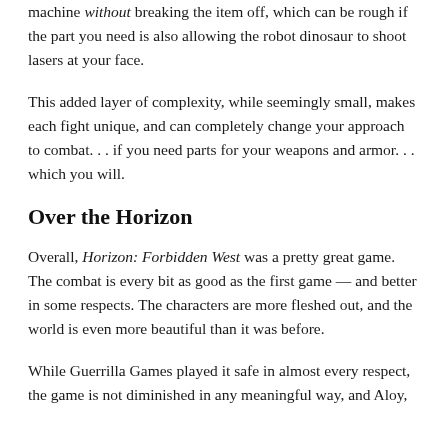machine without breaking the item off, which can be rough if the part you need is also allowing the robot dinosaur to shoot lasers at your face.
This added layer of complexity, while seemingly small, makes each fight unique, and can completely change your approach to combat. . . if you need parts for your weapons and armor. . . which you will.
Over the Horizon
Overall, Horizon: Forbidden West was a pretty great game. The combat is every bit as good as the first game — and better in some respects. The characters are more fleshed out, and the world is even more beautiful than it was before.
While Guerrilla Games played it safe in almost every respect, the game is not diminished in any meaningful way, and Aloy,